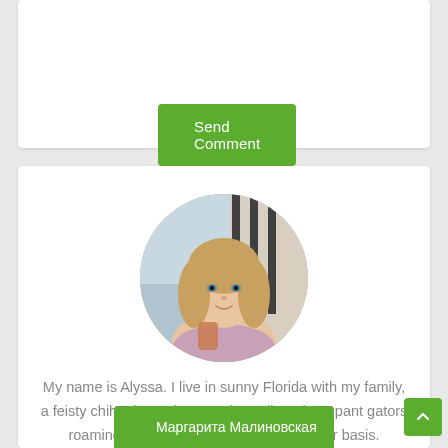Send Comment
[Figure (photo): Circular profile photo of a blonde woman smiling, photographed outdoors]
My name is Alyssa. I live in sunny Florida with my family, a feisty chihuahua mix named Bandit and rampant gators roaming around my backyard on a regular basis.
Маргарита Малиновская